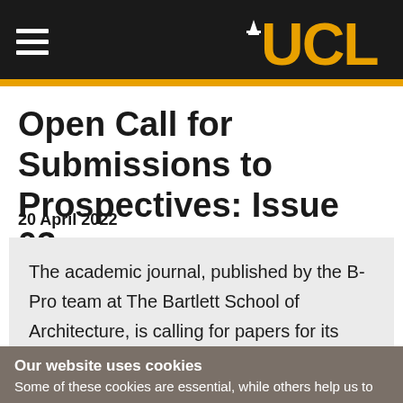UCL
Open Call for Submissions to Prospectives: Issue 03
20 April 2022
The academic journal, published by the B-Pro team at The Bartlett School of Architecture, is calling for papers for its third issue.
Our website uses cookies
Some of these cookies are essential, while others help us to